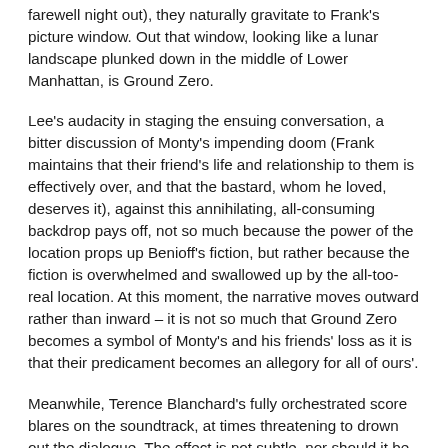farewell night out), they naturally gravitate to Frank's picture window. Out that window, looking like a lunar landscape plunked down in the middle of Lower Manhattan, is Ground Zero.
Lee's audacity in staging the ensuing conversation, a bitter discussion of Monty's impending doom (Frank maintains that their friend's life and relationship to them is effectively over, and that the bastard, whom he loved, deserves it), against this annihilating, all-consuming backdrop pays off, not so much because the power of the location props up Benioff's fiction, but rather because the fiction is overwhelmed and swallowed up by the all-too-real location. At this moment, the narrative moves outward rather than inward – it is not so much that Ground Zero becomes a symbol of Monty's and his friends' loss as it is that their predicament becomes an allegory for all of ours'.
Meanwhile, Terence Blanchard's fully orchestrated score blares on the soundtrack, at times threatening to drown out the dialogue. The effect is not subtle, nor should it be. In this case, Lee's audacity is his greatest asset. Throughout the